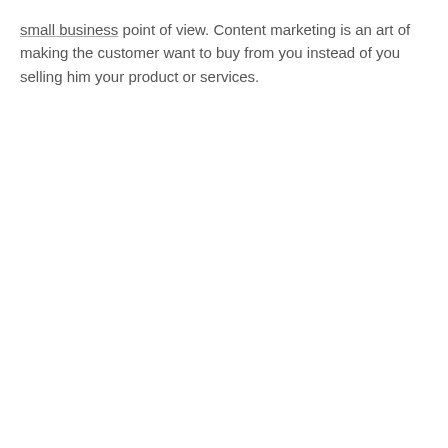small business point of view. Content marketing is an art of making the customer want to buy from you instead of you selling him your product or services.